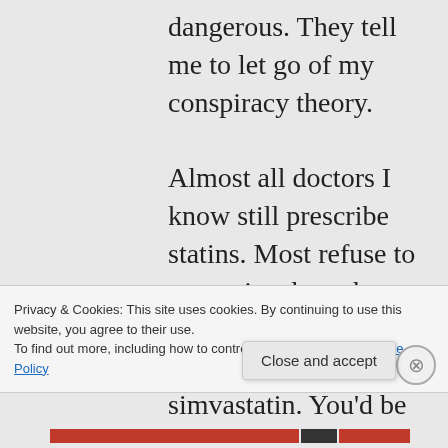dangerous. They tell me to let go of my conspiracy theory.

Almost all doctors I know still prescribe statins. Most refuse to recognize that what happened to me was caused by simvastatin. You'd be
Privacy & Cookies: This site uses cookies. By continuing to use this website, you agree to their use.
To find out more, including how to control cookies, see here: Cookie Policy